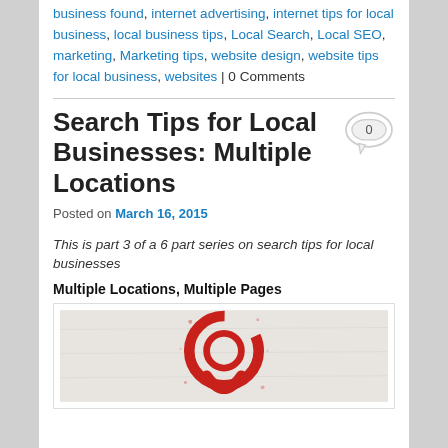business found, internet advertising, internet tips for local business, local business tips, Local Search, Local SEO, marketing, Marketing tips, website design, website tips for local business, websites | 0 Comments
Search Tips for Local Businesses: Multiple Locations
Posted on March 16, 2015
This is part 3 of a 6 part series on search tips for local businesses
Multiple Locations, Multiple Pages
[Figure (photo): A red spray-painted location/target icon on a light concrete or wall surface, partially visible]